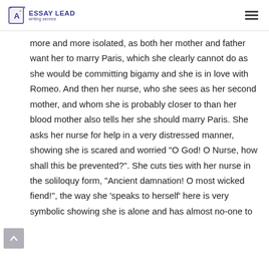ESSAY LEAD writing service
more and more isolated, as both her mother and father want her to marry Paris, which she clearly cannot do as she would be committing bigamy and she is in love with Romeo. And then her nurse, who she sees as her second mother, and whom she is probably closer to than her blood mother also tells her she should marry Paris. She asks her nurse for help in a very distressed manner, showing she is scared and worried “O God! O Nurse, how shall this be prevented?”. She cuts ties with her nurse in the soliloquy form, “Ancient damnation! O most wicked fiend!”, the way she ‘speaks to herself’ here is very symbolic showing she is alone and has almost no-one to